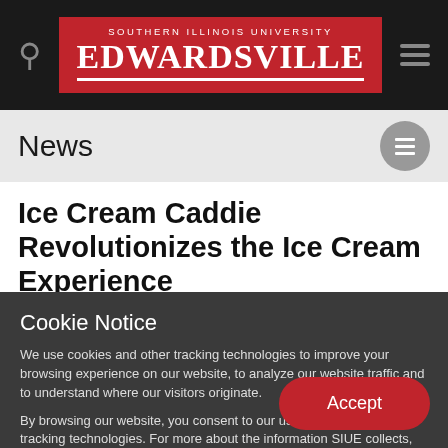[Figure (logo): Southern Illinois University Edwardsville logo — white text on red background with underline]
News
Ice Cream Caddie Revolutionizes the Ice Cream Experience
Cookie Notice
We use cookies and other tracking technologies to improve your browsing experience on our website, to analyze our website traffic and to understand where our visitors originate.
By browsing our website, you consent to our use of cookies and other tracking technologies. For more about the information SIUE collects, visit our Web Privacy Notice.